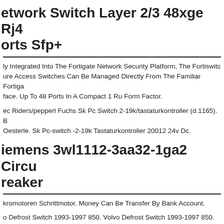etwork Switch Layer 2/3 48xge Rj4 orts Sfp+
ly Integrated Into The Fortigate Network Security Platform, The Fortiswitc ure Access Switches Can Be Managed Directly From The Familiar Fortiga face. Up To 48 Ports In A Compact 1 Ru Form Factor.
ec Riders/pepperl Fuchs Sk Pc Switch 2-19k/tastaturkontroller (d.1165). B Oesterle. Sk Pc-switch -2-19k Tastaturkontroller 20012 24v Dc.
iemens 3wl1112-3aa32-1ga2 Circu reaker
kromotoren Schrittmotor. Money Can Be Transfer By Bank Account.
o Defrost Switch 1993-1997 850. Volvo Defrost Switch 1993-1997 850. dition Is Used. Shipped With Usps First Class Package.